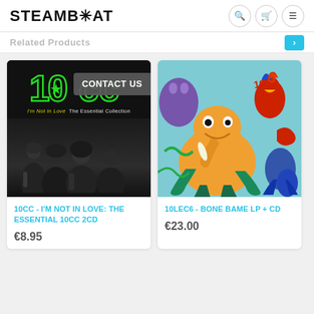STEAMB*AT
Related Products
[Figure (screenshot): 10cc - I'm Not In Love: The Essential Collection album cover, black and white photo of band with green neon 10cc logo]
CONTACT US
10CC - I'M NOT IN LOVE: THE ESSENTIAL 10CC 2CD
€8.95
[Figure (illustration): 10LEC6 - Bone Bame colorful cartoon illustration album cover with creatures and stylized lettering]
10LEC6 - BONE BAME LP + CD
€23.00